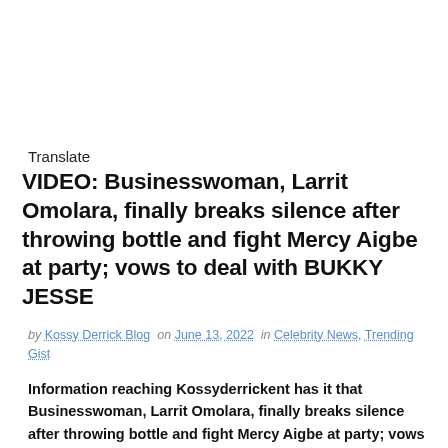Translate
VIDEO: Businesswoman, Larrit Omolara, finally breaks silence after throwing bottle and fight Mercy Aigbe at party; vows to deal with BUKKY JESSE
by Kossy Derrick Blog on June 13, 2022 in Celebrity News, Trending Gist
Information reaching Kossyderrickent has it that Businesswoman, Larrit Omolara, finally breaks silence after throwing bottle and fight Mercy Aigbe at party; vows to deal with BUKKY JESSE. (Read More Here).